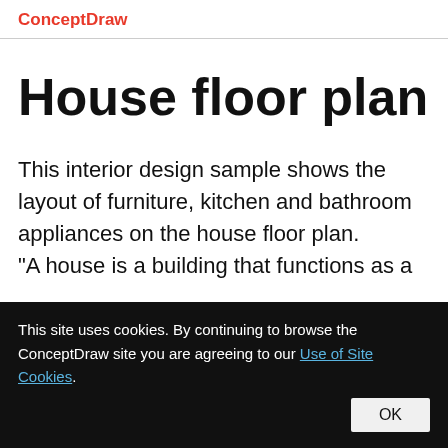ConceptDraw
House floor plan
This interior design sample shows the layout of furniture, kitchen and bathroom appliances on the house floor plan. "A house is a building that functions as a
This site uses cookies. By continuing to browse the ConceptDraw site you are agreeing to our Use of Site Cookies. OK